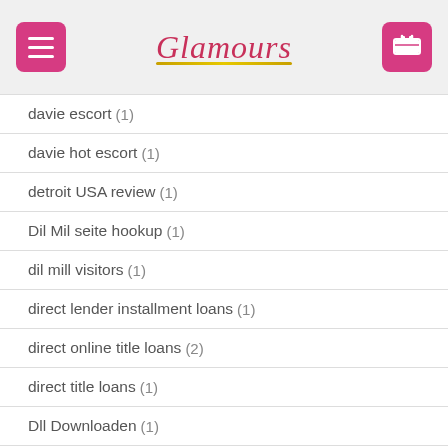Glamours
davie escort (1)
davie hot escort (1)
detroit USA review (1)
Dil Mil seite hookup (1)
dil mill visitors (1)
direct lender installment loans (1)
direct online title loans (2)
direct title loans (1)
Dll Downloaden (1)
Dll Lataus (3)